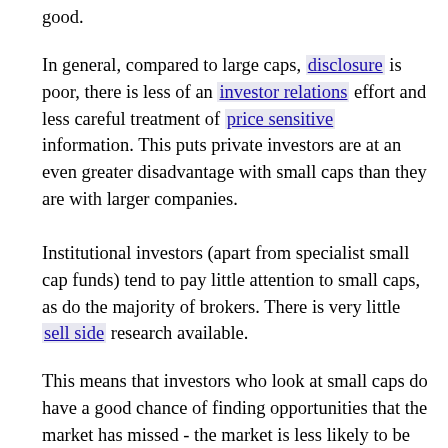good.
In general, compared to large caps, disclosure is poor, there is less of an investor relations effort and less careful treatment of price sensitive information. This puts private investors are at an even greater disadvantage with small caps than they are with larger companies.
Institutional investors (apart from specialist small cap funds) tend to pay little attention to small caps, as do the majority of brokers. There is very little sell side research available.
This means that investors who look at small caps do have a good chance of finding opportunities that the market has missed - the market is less likely to be efficient with regard